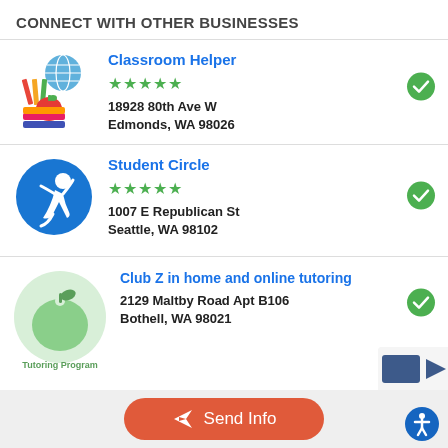CONNECT WITH OTHER BUSINESSES
Classroom Helper
★★★★★
18928 80th Ave W
Edmonds, WA 98026
Student Circle
★★★★★
1007 E Republican St
Seattle, WA 98102
Club Z in home and online tutoring
2129 Maltby Road Apt B106
Bothell, WA 98021
Send Info